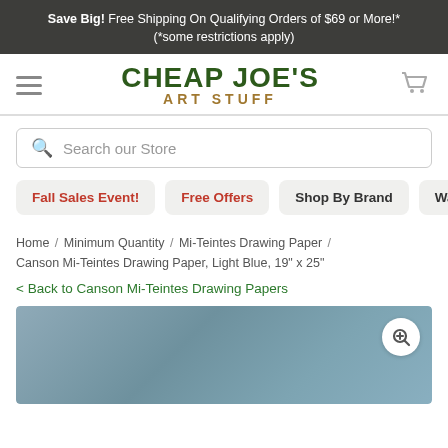Save Big! Free Shipping On Qualifying Orders of $69 or More!* (*some restrictions apply)
[Figure (logo): Cheap Joe's Art Stuff logo with hamburger menu and cart icon]
Search our Store
Fall Sales Event!
Free Offers
Shop By Brand
Watercolor
Home / Minimum Quantity / Mi-Teintes Drawing Paper / Canson Mi-Teintes Drawing Paper, Light Blue, 19" x 25"
< Back to Canson Mi-Teintes Drawing Papers
[Figure (photo): Light blue textured drawing paper product photo with zoom magnifier button]